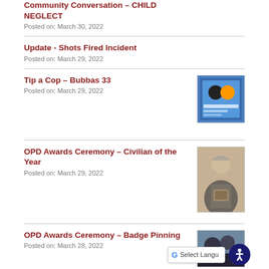Community Conversation – CHILD NEGLECT
Posted on: March 30, 2022
Update - Shots Fired Incident
Posted on: March 29, 2022
Tip a Cop – Bubbas 33
Posted on: March 29, 2022
[Figure (photo): Tip a Cop Bubbas 33 event flyer thumbnail]
OPD Awards Ceremony – Civilian of the Year
Posted on: March 29, 2022
[Figure (photo): Photo of woman holding an award plaque at OPD Awards Ceremony]
OPD Awards Ceremony – Badge Pinning
Posted on: March 28, 2022
[Figure (photo): Photo from OPD Awards Ceremony Badge Pinning event]
Support Mor Badges Success!
[Figure (photo): City building photo thumbnail for Support Mor Badges Success article]